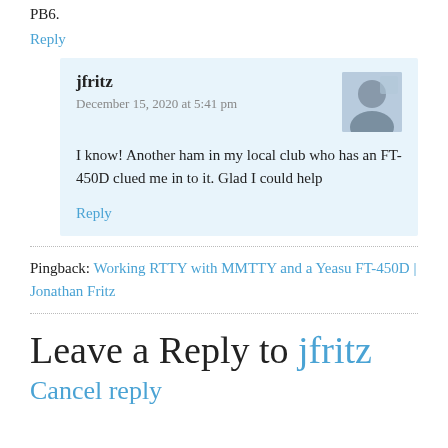PB6.
Reply
jfritz
December 15, 2020 at 5:41 pm
I know! Another ham in my local club who has an FT-450D clued me in to it. Glad I could help
Reply
Pingback: Working RTTY with MMTTY and a Yeasu FT-450D | Jonathan Fritz
Leave a Reply to jfritz
Cancel reply